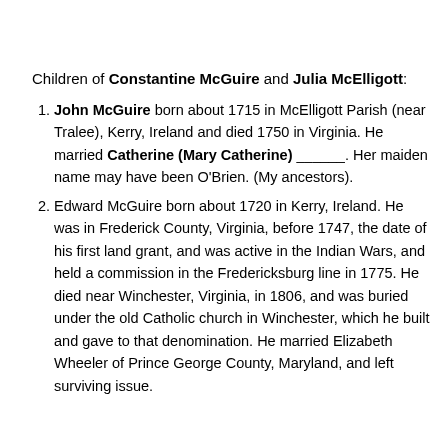[Figure (illustration): A decorative row of green shamrock/clover icons across the top of the page]
Children of Constantine McGuire and Julia McElligott:
John McGuire born about 1715 in McElligott Parish (near Tralee), Kerry, Ireland and died 1750 in Virginia. He married Catherine (Mary Catherine) ______. Her maiden name may have been O'Brien. (My ancestors).
Edward McGuire born about 1720 in Kerry, Ireland. He was in Frederick County, Virginia, before 1747, the date of his first land grant, and was active in the Indian Wars, and held a commission in the Fredericksburg line in 1775. He died near Winchester, Virginia, in 1806, and was buried under the old Catholic church in Winchester, which he built and gave to that denomination. He married Elizabeth Wheeler of Prince George County, Maryland, and left surviving issue.